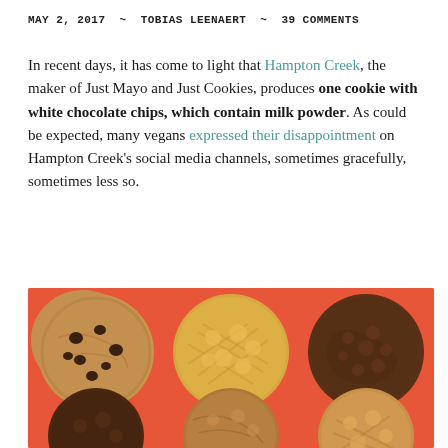MAY 2, 2017  ~  TOBIAS LEENAERT  ~  39 COMMENTS
In recent days, it has come to light that Hampton Creek, the maker of Just Mayo and Just Cookies, produces one cookie with white chocolate chips, which contain milk powder. As could be expected, many vegans expressed their disappointment on Hampton Creek's social media channels, sometimes gracefully, sometimes less so.
[Figure (photo): Photo of six cookies arranged in two rows of three on an orange-red background. Top row: chocolate chip cookie (tan), peanut butter cookie (golden), dark chocolate cookie (dark brown). Bottom row: dark chocolate cookie, oatmeal/walnut cookie, peanut butter cookie.]